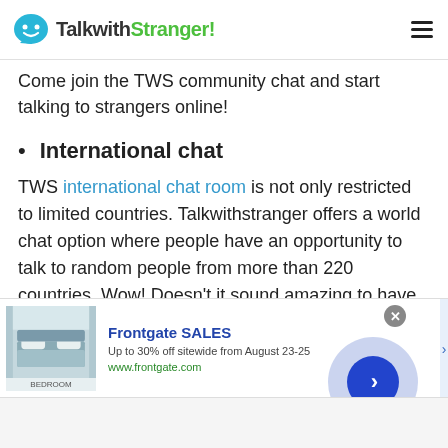TalkwithStranger!
Come join the TWS community chat and start talking to strangers online!
International chat
TWS international chat room is not only restricted to limited countries. Talkwithstranger offers a world chat option where people have an opportunity to talk to random people from more than 220 countries. Wow! Doesn't it sound amazing to have millions of strangers online to whom you can talk without going anywhere? Well, absolutely yes! Just
[Figure (screenshot): Advertisement banner for Frontgate SALES - Up to 30% off sitewide from August 23-25, www.frontgate.com, with bedroom image and navigation arrow]